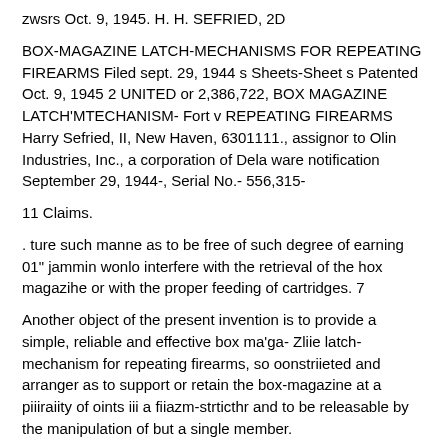zwsrs Oct. 9, 1945. H. H. SEFRIED, 2D
BOX-MAGAZINE LATCH-MECHANISMS FOR REPEATING FIREARMS Filed sept. 29, 1944 s Sheets-Sheet s Patented Oct. 9, 1945 2 UNITED or 2,386,722, BOX MAGAZINE LATCH'MTECHANISM- Fort v REPEATING FIREARMS Harry Sefried, II, New Haven, 6301111., assignor to Olin Industries, Inc., a corporation of Dela ware notification September 29, 1944-, Serial No.- 556,315-
11 Claims.
. ture such manne as to be free of such degree of earning 01" jammin wonlo interfere with the retrieval of the hox magazihe or with the proper feeding of cartridges. 7
Another object of the present invention is to provide a simple, reliable and effective box ma'ga- Zliie latch-mechanism for repeating firearms, so oonstriieted and arranger as to support or retain the box-magazine at a piiiraiity of oints iii a fiiazm-strticthr and to be releasable by the manipulation of but a single member.
A further object of the present invention is to nrovide a